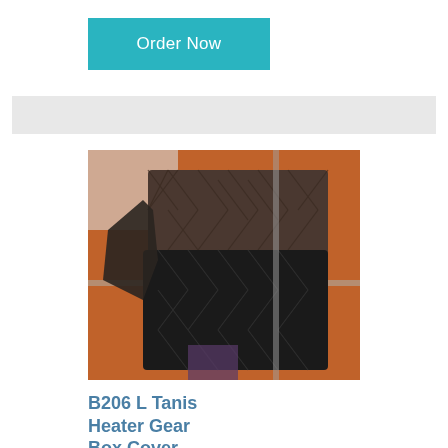Order Now
[Figure (photo): Black quilted heater gear box cover product photo against orange background]
B206 L Tanis Heater Gear Box Cover